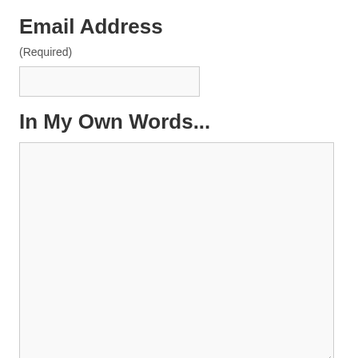Email Address
(Required)
[Figure (other): Empty text input field for email address]
In My Own Words...
[Figure (other): Large empty textarea for freeform text input]
Or Choose An Option